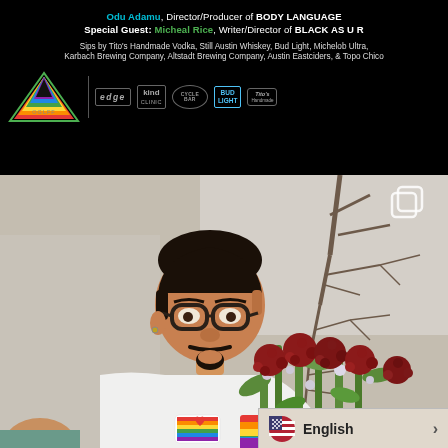Odu Adamu, Director/Producer of BODY LANGUAGE
Special Guest: Micheal Rice, Writer/Director of BLACK AS U R

Sips by Tito's Handmade Vodka, Still Austin Whiskey, Bud Light, Michelob Ultra, Karbach Brewing Company, Altstadt Brewing Company, Austin Eastciders, & Topo Chico
[Figure (logo): Sponsor logos row including a rainbow triangle logo (OGLFF), edge, kind clinic, cycle bar, Bud Light, and Tito's Handmade Vodka]
[Figure (photo): A man with glasses and a goatee wearing a white tank top with a rainbow pride heart design, holding a large bouquet of red roses. Background shows a building and bare tree branches.]
English